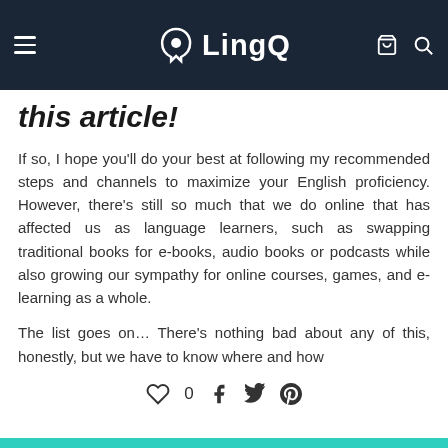LingQ
this article!
If so, I hope you'll do your best at following my recommended steps and channels to maximize your English proficiency. However, there's still so much that we do online that has affected us as language learners, such as swapping traditional books for e-books, audio books or podcasts while also growing our sympathy for online courses, games, and e-learning as a whole.
The list goes on… There's nothing bad about any of this, honestly, but we have to know where and how